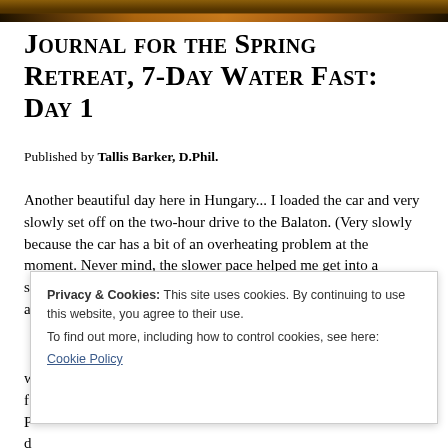[Figure (photo): Narrow horizontal photo strip at the top of the page, showing a dark landscape with warm amber/orange reflections on water, suggesting a sunset over Lake Balaton.]
Journal for the Spring Retreat, 7-Day Water Fast: Day 1
Published by Tallis Barker, D.Phil.
Another beautiful day here in Hungary... I loaded the car and very slowly set off on the two-hour drive to the Balaton. (Very slowly because the car has a bit of an overheating problem at the moment. Never mind, the slower pace helped me get into a slower-paced fasting mindset!) As usual, the first thing I did after arriving in the w... f... P... d... t... started driving. I always enjoy seeing the mixture of
Privacy & Cookies: This site uses cookies. By continuing to use this website, you agree to their use.
To find out more, including how to control cookies, see here:
Cookie Policy
Accept